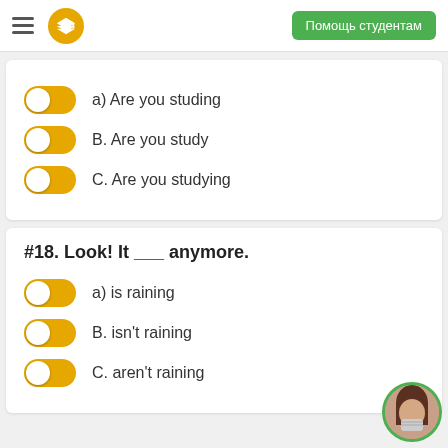Помощь студентам
a) Are you studing
B. Are you study
C. Are you studying
#18. Look! It ___ anymore.
a) is raining
B. isn't raining
C. aren't raining